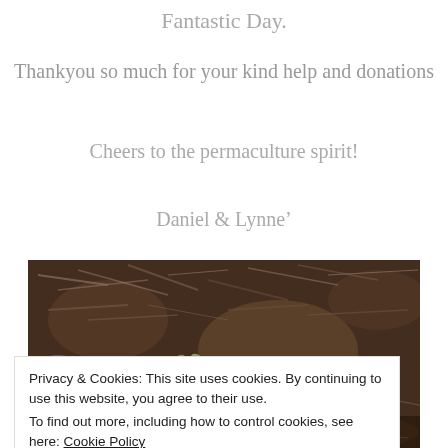Fantastic Day.
Thankyou so much for your kind help and donations
Cheers to the permaculture spirit!
Daniel & Lynne'
[Figure (photo): Close-up photograph of dark soil with small seedling sprouts emerging and scattered plant debris/mulch]
Privacy & Cookies: This site uses cookies. By continuing to use this website, you agree to their use.
To find out more, including how to control cookies, see here: Cookie Policy
[Figure (photo): Close-up of dark soil, partial view at bottom of page]